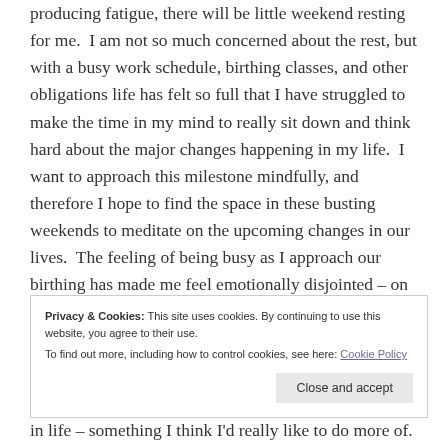producing fatigue, there will be little weekend resting for me.  I am not so much concerned about the rest, but with a busy work schedule, birthing classes, and other obligations life has felt so full that I have struggled to make the time in my mind to really sit down and think hard about the major changes happening in my life.  I want to approach this milestone mindfully, and therefore I hope to find the space in these busting weekends to meditate on the upcoming changes in our lives.  The feeling of being busy as I approach our birthing has made me feel emotionally disjointed – on the one hand I feel physically fine, with only minor discomforts to complain of, so I treat my life as
Privacy & Cookies: This site uses cookies. By continuing to use this website, you agree to their use.
To find out more, including how to control cookies, see here: Cookie Policy
in life – something I think I'd really like to do more of.